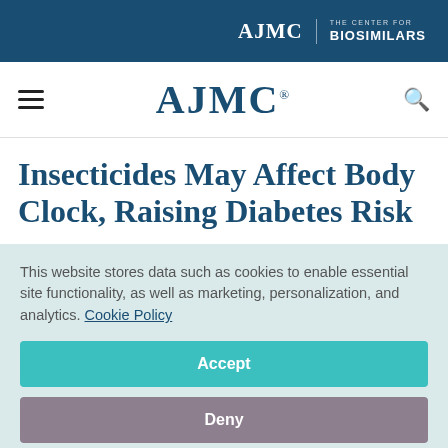AJMC | THE CENTER FOR BIOSIMILARS
AJMC
Insecticides May Affect Body Clock, Raising Diabetes Risk
This website stores data such as cookies to enable essential site functionality, as well as marketing, personalization, and analytics. Cookie Policy
Accept
Deny